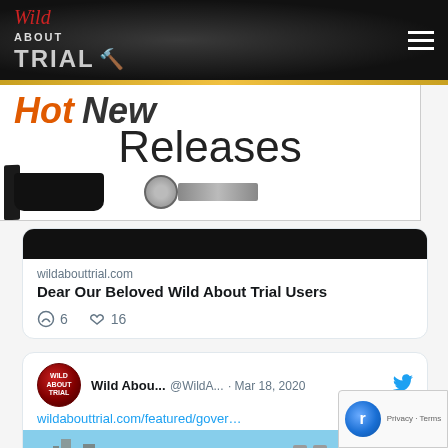Wild About Trial
[Figure (screenshot): Wild About Trial website logo with gavel icon on dark marble background]
[Figure (screenshot): Advertisement banner showing Hot New Releases with PS4 console and microphone images]
[Figure (screenshot): Tweet card from wildabouttrial.com reading: Dear Our Beloved Wild About Trial Users, with 6 comments and 16 likes]
wildabouttrial.com
Dear Our Beloved Wild About Trial Users
[Figure (screenshot): Tweet from Wild Abou... @WildA... · Mar 18, 2020 with link wildabouttrial.com/featured/gover... and Brooklyn Bridge photo]
Wild Abou... @WildA... · Mar 18, 2020
wildabouttrial.com/featured/gover…